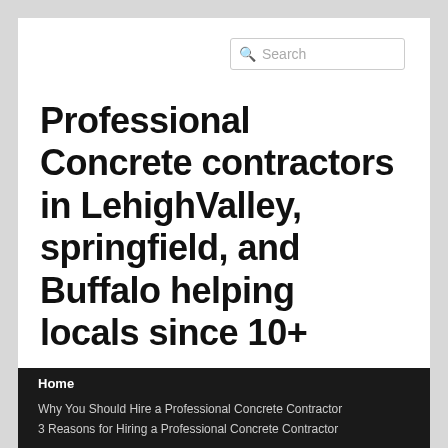[Figure (screenshot): Search bar with magnifying glass icon and placeholder text 'Search']
Professional Concrete contractors in LehighValley, springfield, and Buffalo helping locals since 10+ years
Home
Why You Should Hire a Professional Concrete Contractor
3 Reasons for Hiring a Professional Concrete Contractor